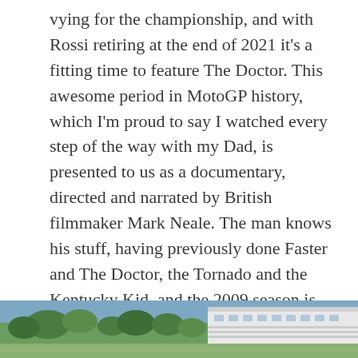vying for the championship, and with Rossi retiring at the end of 2021 it's a fitting time to feature The Doctor. This awesome period in MotoGP history, which I'm proud to say I watched every step of the way with my Dad, is presented to us as a documentary, directed and narrated by British filmmaker Mark Neale. The man knows his stuff, having previously done Faster and The Doctor, the Tornado and the Kentucky Kid, and the 2009 season is fleshed out through archive footage of the races, snippets of past interviews with the riders and Neale's own narration. Even though I'm already familiar with what occurred in 2009, I still found the whole thing engrossing, reliving the tense inter-team rivalry of Rossi and Lorenzo, Dani Pedrosa's numerous injuries and all the other drama.
[Figure (photo): Partial image of a motorsport venue or racetrack, showing a grandstand and track area with trees and buildings visible.]